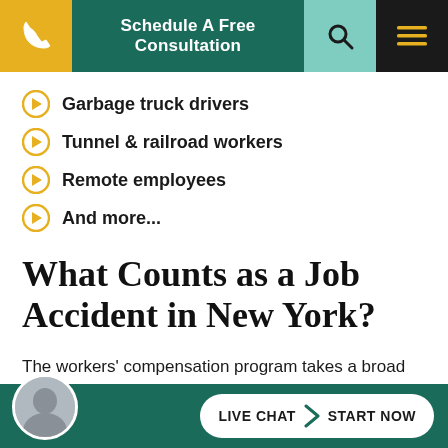Schedule A Free Consultation
Garbage truck drivers
Tunnel & railroad workers
Remote employees
And more...
What Counts as a Job Accident in New York?
The workers' compensation program takes a broad view of the term “workplace accident” and provides benefits for workers who are injured in almost any kind of accident. Some of the most common work-related
LIVE CHAT  START NOW